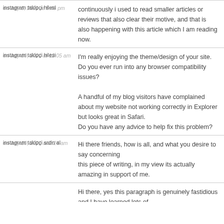instagram takipçi hilesi on July 5, 2021 at 5:46 pm — continuously i used to read smaller articles or reviews that also clear their motive, and that is also happening with this article which I am reading now.
instagram takipçi hilesi on July 10, 2021 at 12:05 am — I'm really enjoying the theme/design of your site. Do you ever run into any browser compatibility issues? A handful of my blog visitors have complained about my website not working correctly in Explorer but looks great in Safari. Do you have any advice to help fix this problem?
instagram takipçi satin al on July 10, 2021 at 2:24 am — Hi there friends, how is all, and what you desire to say concerning this piece of writing, in my view its actually amazing in support of me.
[truncated — partial comment visible at bottom]